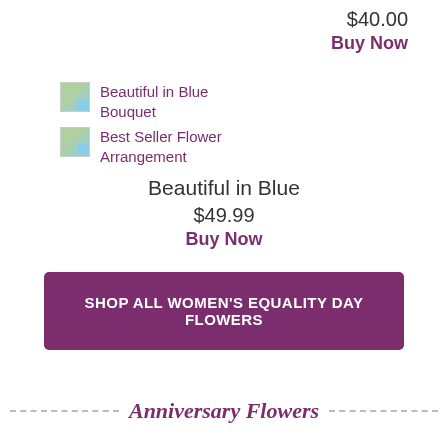$40.00
Buy Now
[Figure (photo): Thumbnail image for Beautiful in Blue Bouquet product]
Beautiful in Blue Bouquet
[Figure (photo): Thumbnail image for Best Seller Flower Arrangement product]
Best Seller Flower Arrangement
Beautiful in Blue
$49.99
Buy Now
SHOP ALL WOMEN'S EQUALITY DAY FLOWERS
Anniversary Flowers